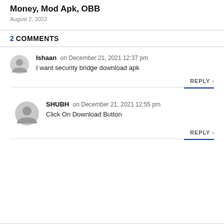Money, Mod Apk, OBB
August 2, 2022
2 COMMENTS
Ishaan on December 21, 2021 12:37 pm
I want security bridge download apk
REPLY >
SHUBH on December 21, 2021 12:55 pm
Click On Download Button
REPLY >